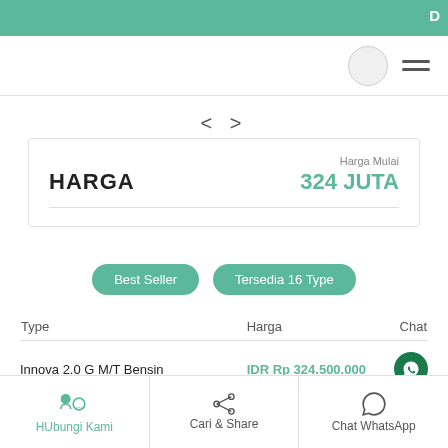D
[Figure (screenshot): Navigation bar with circle avatar and hamburger menu]
< >
HARGA    Harga Mulai   324 JUTA
Best Seller   Tersedia 16 Type
| Type | Harga | Chat |
| --- | --- | --- |
| Innova 2.0 G M/T Bensin | IDR Rp 324.500.000 |  |
| Innova 2.0 G M/T Bensin Luxury | IDR Rp 330.300.000 |  |
| ... | IDR Rp ... |  |
HUbungi Kami   Cari & Share   Chat WhatsApp